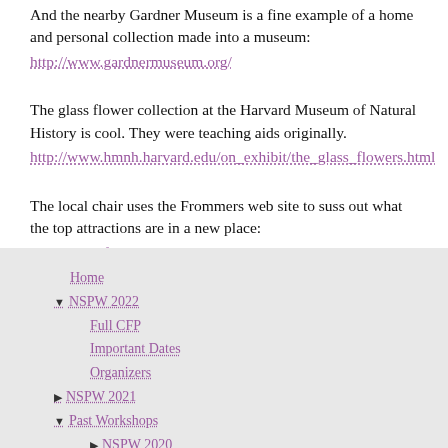And the nearby Gardner Museum is a fine example of a home and personal collection made into a museum:
http://www.gardnermuseum.org/
The glass flower collection at the Harvard Museum of Natural History is cool. They were teaching aids originally.
http://www.hmnh.harvard.edu/on_exhibit/the_glass_flowers.html
The local chair uses the Frommers web site to suss out what the top attractions are in a new place:
http://www.frommers.com/destinations/boston/
Home
▼ NSPW 2022
Full CFP
Important Dates
Organizers
▶ NSPW 2021
▼ Past Workshops
▶ NSPW 2020